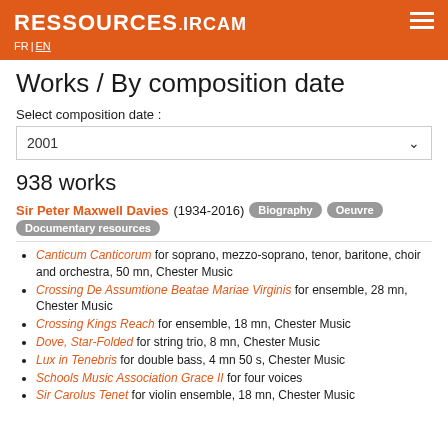RESSOURCES.IRCAM  FR | EN
Works / By composition date
Select composition date :
2001
938 works
Sir Peter Maxwell Davies (1934-2016) Biography Oeuvre Documentary resources
Canticum Canticorum for soprano, mezzo-soprano, tenor, baritone, choir and orchestra, 50 mn, Chester Music
Crossing De Assumtione Beatae Mariae Virginis for ensemble, 28 mn, Chester Music
Crossing Kings Reach for ensemble, 18 mn, Chester Music
Dove, Star-Folded for string trio, 8 mn, Chester Music
Lux in Tenebris for double bass, 4 mn 50 s, Chester Music
Schools Music Association Grace II for four voices
Sir Carolus Tenet for violin ensemble, 18 mn, Chester Music